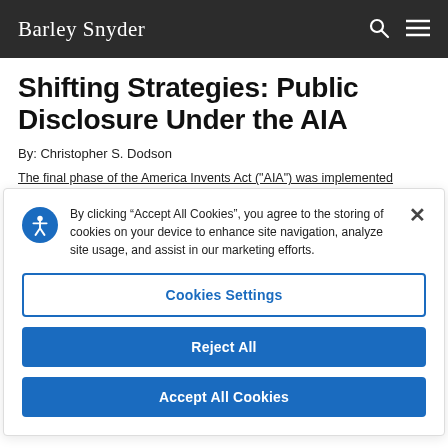Barley Snyder
Shifting Strategies: Public Disclosure Under the AIA
By: Christopher S. Dodson
The final phase of the America Invents Act ("AIA") was implemented
By clicking “Accept All Cookies”, you agree to the storing of cookies on your device to enhance site navigation, analyze site usage, and assist in our marketing efforts.
Cookies Settings
Reject All
Accept All Cookies